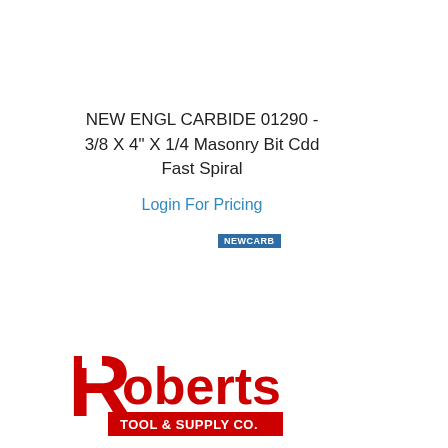NEW ENGL CARBIDE 01290 - 3/8 X 4" X 1/4 Masonry Bit Cdd Fast Spiral
Login For Pricing
[Figure (logo): NEWCARB badge label in blue]
[Figure (logo): Roberts Tool & Supply Co. logo with red R and red banner]